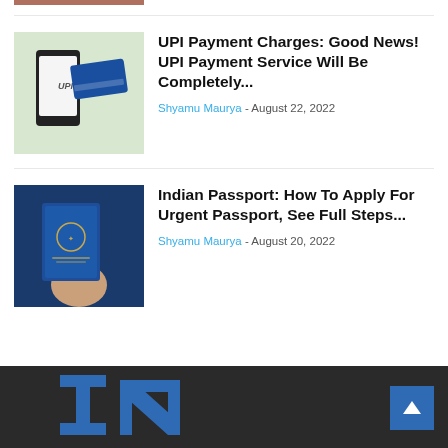[Figure (photo): Partial thumbnail at top of page, cropped news article image]
UPI Payment Charges: Good News! UPI Payment Service Will Be Completely...
Shyamu Maurya - August 22, 2022
[Figure (photo): Photo of hand holding Indian passport with UPI phone]
Indian Passport: How To Apply For Urgent Passport, See Full Steps...
Shyamu Maurya - August 20, 2022
IN logo and back to top button